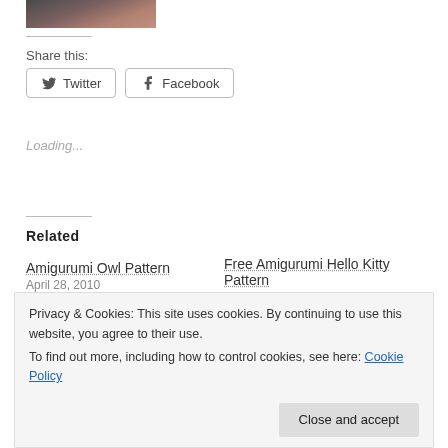[Figure (photo): Partial photo of a person, cropped at top]
Share this:
Twitter  Facebook
Loading...
Related
Amigurumi Owl Pattern
April 28, 2010
Free Amigurumi Hello Kitty Pattern
Privacy & Cookies: This site uses cookies. By continuing to use this website, you agree to their use. To find out more, including how to control cookies, see here: Cookie Policy
Close and accept